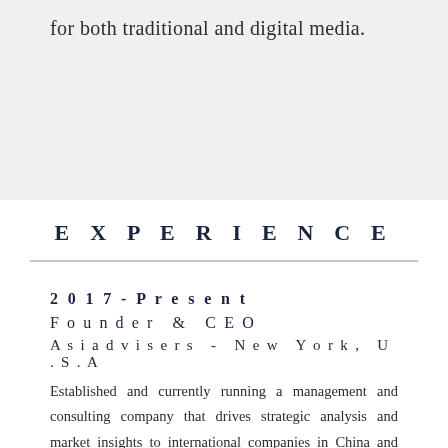for both traditional and digital media.
EXPERIENCE
2017-Present
Founder & CEO
Asiadvisers - New York, U.S.A
Established and currently running a management and consulting company that drives strategic analysis and market insights to international companies in China and Asia-Pacific. Provide representation services, advice and support for international companies looking to grow their business in the world's fastest growing market. Dedicated to helping clients grow their business in the region by focusing on creating better